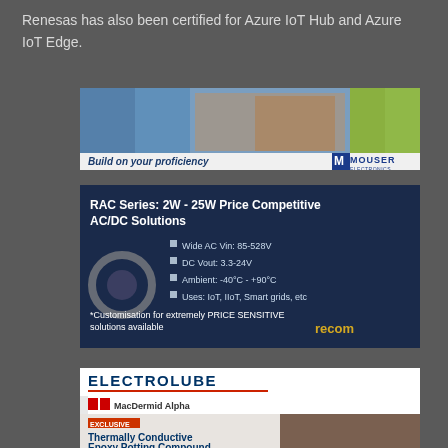Renesas has also been certified for Azure IoT Hub and Azure IoT Edge.
[Figure (photo): Mouser Electronics advertisement banner: Build on your proficiency]
[Figure (photo): RAC Series: 2W - 25W Price Competitive AC/DC Solutions advertisement. Wide AC Vin: 85-528V, DC Vout: 3.3-24V, Ambient: -40°C - +90°C, Uses: IoT, IIoT, Smart grids, etc. *Customisation for extremely PRICE SENSITIVE solutions available]
[Figure (photo): Electrolube advertisement. MacDermid Alpha. Thermally Conductive Epoxy Potting Compound.]